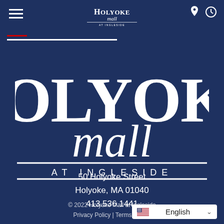Holyoke Mall at Ingleside — navigation header with hamburger menu, logo, and icons
[Figure (logo): Holyoke Mall at Ingleside large white logo on dark navy background — HOLYOKE in large serif caps, 'mall' in cursive script, AT INGLESIDE in spaced small caps]
50 Holyoke Street
Holyoke, MA 01040
413.536.1441
© 2022 Holyoke Mall at Ingleside
Privacy Policy | Terms of Use
English